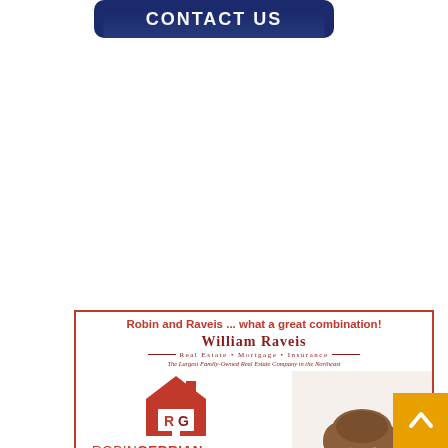[Figure (other): Dark navy blue rounded rectangle button with white bold uppercase text 'CONTACT US' and a reflection below it]
[Figure (other): Advertisement for Robin Gebrian, Licensed Real Estate Professional at William Raveis Real Estate. Includes logo, photo of a woman in orange jacket, contact info: C 860.985.7807, O 860.521.4311, ROBINGEBRIAN.RAVEIS.COM, ROBINGEBRIAN@RAVEIS.COM, 125 LASALLE ROAD, W. HARTFORD, CT 06107. Tagline: Robin and Raveis ... what a great combination!]
[Figure (other): Gold/amber square scroll-to-top button with white upward chevron arrow, bottom right corner]